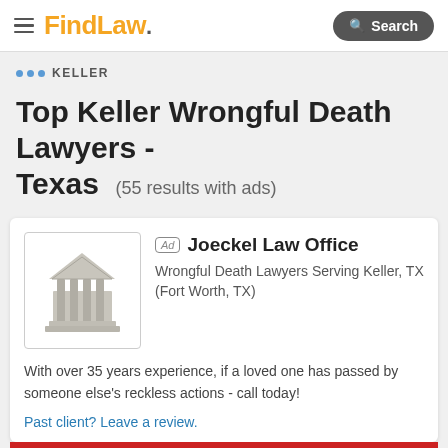FindLaw — Search
... KELLER
Top Keller Wrongful Death Lawyers - Texas (55 results with ads)
[Figure (logo): Law office building icon — grey courthouse illustration]
Ad  Joeckel Law Office
Wrongful Death Lawyers Serving Keller, TX (Fort Worth, TX)
With over 35 years experience, if a loved one has passed by someone else's reckless actions - call today!
Past client? Leave a review.